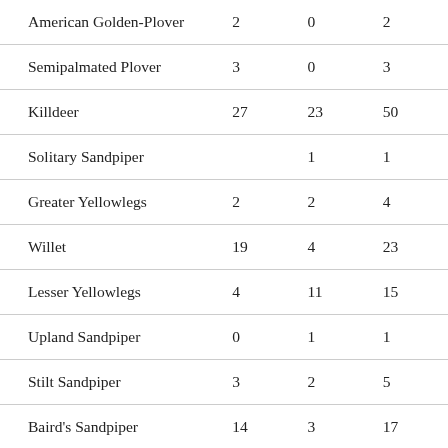| American Golden-Plover | 2 | 0 | 2 |
| Semipalmated Plover | 3 | 0 | 3 |
| Killdeer | 27 | 23 | 50 |
| Solitary Sandpiper |  | 1 | 1 |
| Greater Yellowlegs | 2 | 2 | 4 |
| Willet | 19 | 4 | 23 |
| Lesser Yellowlegs | 4 | 11 | 15 |
| Upland Sandpiper | 0 | 1 | 1 |
| Stilt Sandpiper | 3 | 2 | 5 |
| Baird's Sandpiper | 14 | 3 | 17 |
| Least Sandpiper | 17 | 1 | 18 |